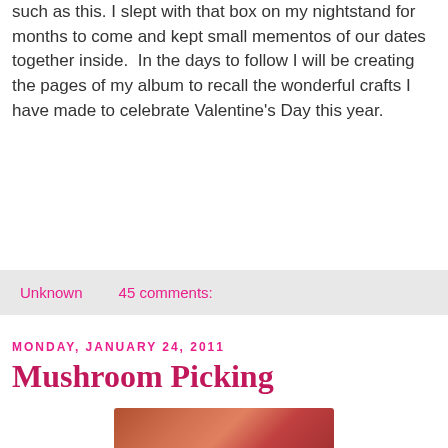such as this. I slept with that box on my nightstand for months to come and kept small mementos of our dates together inside.  In the days to follow I will be creating the pages of my album to recall the wonderful crafts I have made to celebrate Valentine's Day this year.
Unknown     45 comments:
Monday, January 24, 2011
Mushroom Picking
[Figure (photo): Partial photo showing colorful objects, partially visible at bottom of page]